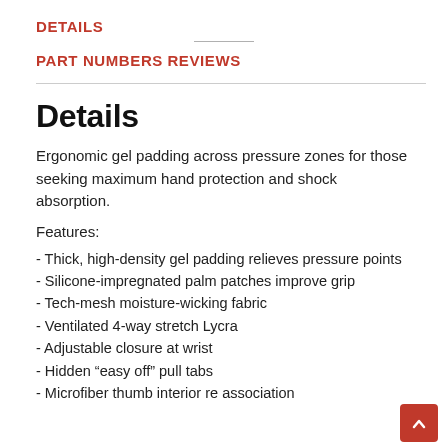DETAILS
PART NUMBERS
REVIEWS
Details
Ergonomic gel padding across pressure zones for those seeking maximum hand protection and shock absorption.
Features:
- Thick, high-density gel padding relieves pressure points
- Silicone-impregnated palm patches improve grip
- Tech-mesh moisture-wicking fabric
- Ventilated 4-way stretch Lycra
- Adjustable closure at wrist
- Hidden “easy off” pull tabs
- Microfiber thumb interior re association (partially visible)